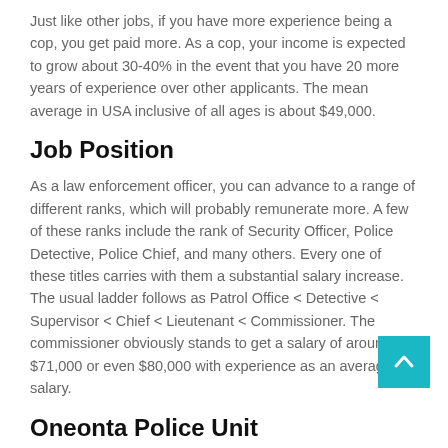Just like other jobs, if you have more experience being a cop, you get paid more. As a cop, your income is expected to grow about 30-40% in the event that you have 20 more years of experience over other applicants. The mean average in USA inclusive of all ages is about $49,000.
Job Position
As a law enforcement officer, you can advance to a range of different ranks, which will probably remunerate more. A few of these ranks include the rank of Security Officer, Police Detective, Police Chief, and many others. Every one of these titles carries with them a substantial salary increase. The usual ladder follows as Patrol Office < Detective < Supervisor < Chief < Lieutenant < Commissioner. The commissioner obviously stands to get a salary of around $71,000 or even $80,000 with experience as an average salary.
Oneonta Police Unit
As stated previously, another determinant that influences the salary you receive is the unit you are assigned to. For